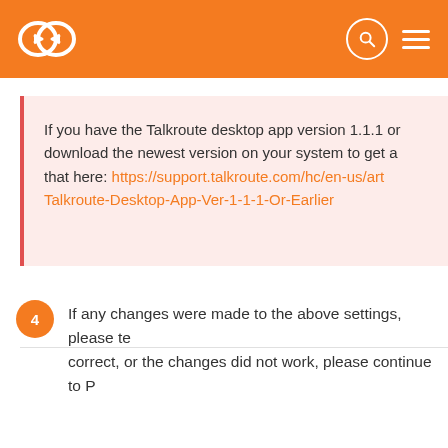Talkroute support page header with logo, search, and menu
If you have the Talkroute desktop app version 1.1.1 or older, please download the newest version on your system to get around that. You can do that here: https://support.talkroute.com/hc/en-us/art...Talkroute-Desktop-App-Ver-1-1-1-Or-Earlier
4 If any changes were made to the above settings, please test the ... correct, or the changes did not work, please continue to P...